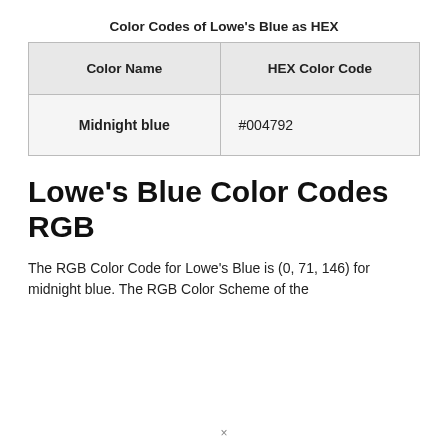Color Codes of Lowe's Blue as HEX
| Color Name | HEX Color Code |
| --- | --- |
| Midnight blue | #004792 |
Lowe's Blue Color Codes RGB
The RGB Color Code for Lowe's Blue is (0, 71, 146) for midnight blue. The RGB Color Scheme of the